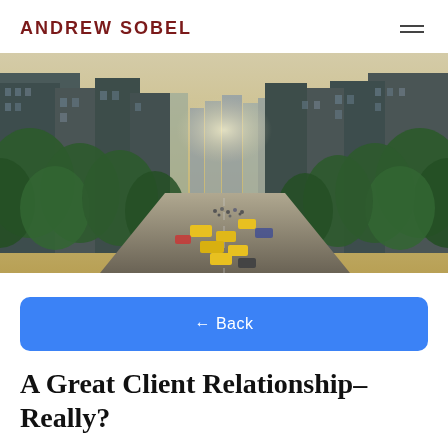ANDREW SOBEL
[Figure (photo): Aerial view of a busy New York City street lined with green trees and tall buildings, with yellow taxis and traffic visible]
← Back
A Great Client Relationship–Really?